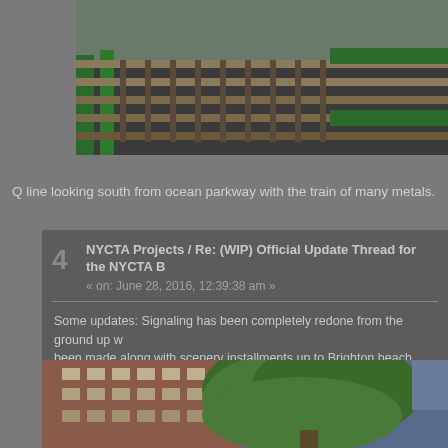[Figure (photo): Top strip showing Q line railroad tracks looking south from ocean parkway with green rail barriers, split into two photos]
Q line looking south from ocean parkway with the train of many metals.
NYCTA Projects / Re: (WIP) Official Update Thread for the NYCTA B
« on: June 28, 2016, 12:39:38 am »
Some updates: Signaling has been completely redone from the ground up with been made along with scenery installments up to Brighton beach.
What's left: Scenery installment from Brighton beach to West 8 street, bug be put in.
Some preview pics:
[Figure (photo): Bottom preview photo showing a brick apartment building with a large green tree and blue sky]